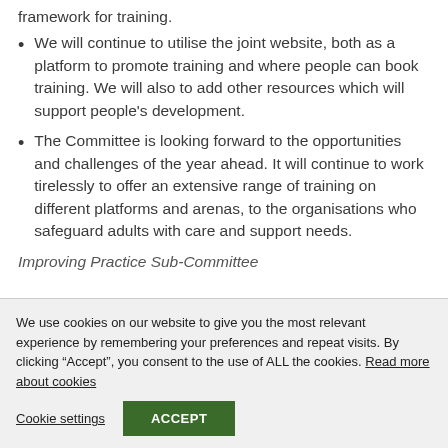framework for training.
We will continue to utilise the joint website, both as a platform to promote training and where people can book training. We will also to add other resources which will support people's development.
The Committee is looking forward to the opportunities and challenges of the year ahead. It will continue to work tirelessly to offer an extensive range of training on different platforms and arenas, to the organisations who safeguard adults with care and support needs.
Improving Practice Sub-Committee
We use cookies on our website to give you the most relevant experience by remembering your preferences and repeat visits. By clicking “Accept”, you consent to the use of ALL the cookies. Read more about cookies